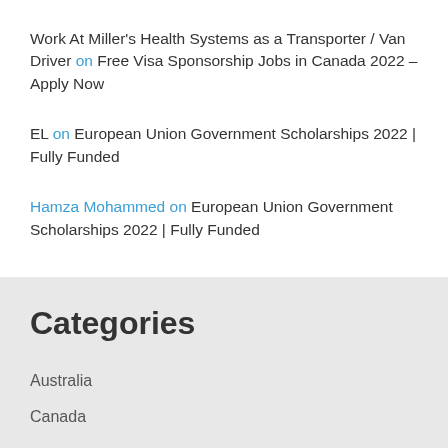Work At Miller's Health Systems as a Transporter / Van Driver on Free Visa Sponsorship Jobs in Canada 2022 – Apply Now
EL on European Union Government Scholarships 2022 | Fully Funded
Hamza Mohammed on European Union Government Scholarships 2022 | Fully Funded
Categories
Australia
Canada